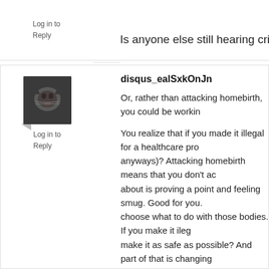Is anyone else still hearing cricket chirps to Dr Amy's cha
Log in to
Reply
Log in to
Reply
[Figure (photo): Avatar image of a cat, dark tones]
disqus_ealSxkOnJn
Or, rather than attacking homebirth, you could be workin
You realize that if you made it illegal for a healthcare pro anyways)? Attacking homebirth means that you don't ac about is proving a point and feeling smug. Good for you. choose what to do with those bodies. If you make it ileg make it as safe as possible? And part of that is changing respect while at their most vulnerable rather than being c maternity wards say that they chose to do a homebirth s teeny tiny, insignificant proportion- it shouldn't happen a
Now, that's something the homebirth advocates need to shouldn't obfuscate the facts, pretend it's safer than it is speak out against dangerous practices. Homebirth advo shouldn't insist that people ignore risk factors that make stupid. In a lot of states, there's virtually no medical requ don't know what the statistics would look like, but it's not